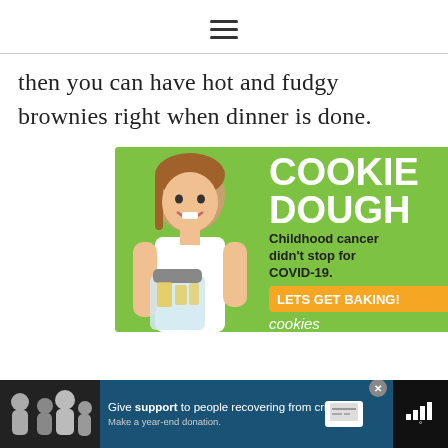[Figure (screenshot): Hamburger menu icon (three horizontal lines) centered at top of page]
then you can have hot and fudgy brownies right when dinner is done.
[Figure (photo): Advertisement for Cookies for Kids' Cancer showing a smiling girl holding a cookie jar on a green background with text: COOKIE DOUGH, Childhood cancer didn't stop for COVID-19. LETS GET BAKING! cookies for kids' cancer]
[Figure (screenshot): Bottom banner advertisement: Give support to people recovering from crisis. Make a year-end donation. With family image on left and close button.]